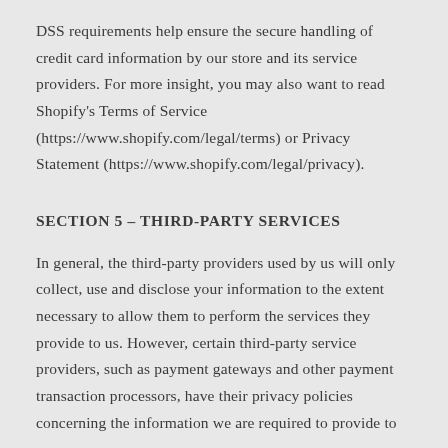DSS requirements help ensure the secure handling of credit card information by our store and its service providers. For more insight, you may also want to read Shopify's Terms of Service (https://www.shopify.com/legal/terms) or Privacy Statement (https://www.shopify.com/legal/privacy).
SECTION 5 – THIRD-PARTY SERVICES
In general, the third-party providers used by us will only collect, use and disclose your information to the extent necessary to allow them to perform the services they provide to us. However, certain third-party service providers, such as payment gateways and other payment transaction processors, have their privacy policies concerning the information we are required to provide to